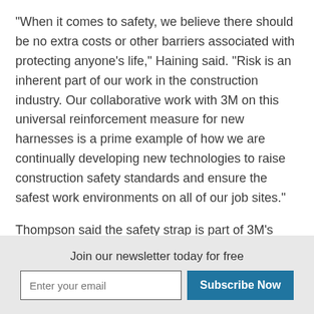"When it comes to safety, we believe there should be no extra costs or other barriers associated with protecting anyone's life," Haining said. "Risk is an inherent part of our work in the construction industry. Our collaborative work with 3M on this universal reinforcement measure for new harnesses is a prime example of how we are continually developing new technologies to raise construction safety standards and ensure the safest work environments on all of our job sites."
Thompson said the safety strap is part of 3M's
Join our newsletter today for free